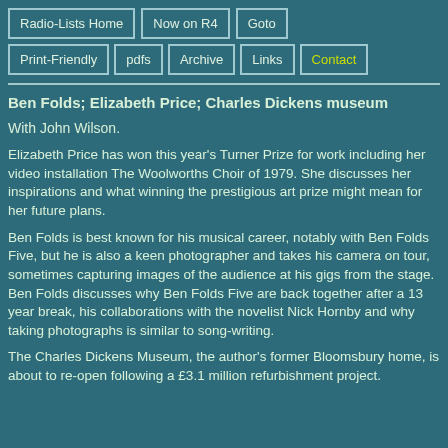Radio-Lists Home | Now on R4 | Goto | Print-Friendly | pdfs | Archive | Links | Contact
Ben Folds; Elizabeth Price; Charles Dickens museum
With John Wilson.
Elizabeth Price has won this year's Turner Prize for work including her video installation The Woolworths Choir of 1979. She discusses her inspirations and what winning the prestigious art prize might mean for her future plans.
Ben Folds is best known for his musical career, notably with Ben Folds Five, but he is also a keen photographer and takes his camera on tour, sometimes capturing images of the audience at his gigs from the stage. Ben Folds discusses why Ben Folds Five are back together after a 13 year break, his collaborations with the novelist Nick Hornby and why taking photographs is similar to song-writing.
The Charles Dickens Museum, the author's former Bloomsbury home, is about to re-open following a £3.1 million refurbishment project.